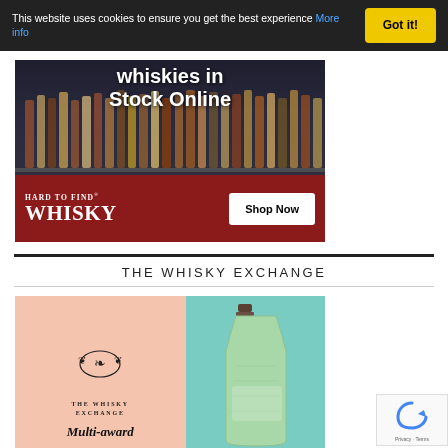This website uses cookies to ensure you get the best experience More info
[Figure (screenshot): Hard To Find Whisky advertisement banner showing whisky bottles on a shelf with text 'whiskies in Stock Online' and a red bar at the bottom with the 'HARD TO FIND WHISKY' logo and a 'Shop Now' button]
THE WHISKY EXCHANGE
[Figure (screenshot): The Whisky Exchange advertisement banner with a pink left panel showing the TWE logo and 'Multi-award' text, and a teal right panel showing a green whisky bottle]